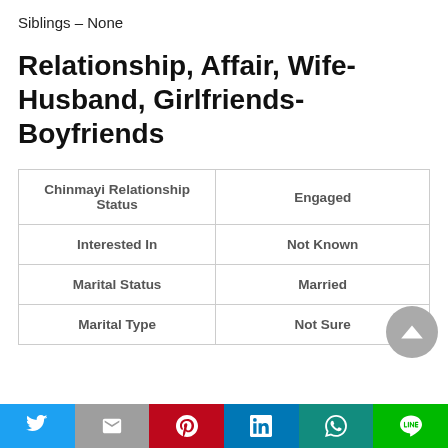Siblings – None
Relationship, Affair, Wife-Husband, Girlfriends-Boyfriends
|  |  |
| --- | --- |
| Chinmayi Relationship Status | Engaged |
| Interested In | Not Known |
| Marital Status | Married |
| Marital Type | Not Sure |
Twitter | Gmail | Pinterest | LinkedIn | WhatsApp | Line